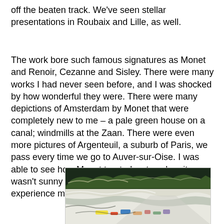off the beaten track.   We've seen stellar presentations in Roubaix and Lille, as well.
The work bore such famous signatures as Monet and Renoir, Cezanne and Sisley.   There were many works I had never seen before, and I was shocked by how wonderful they were.   There were many depictions of Amsterdam by Monet that were completely new to me – a pale green house on a canal; windmills at the Zaan.   There were even more pictures of Argenteuil,  a suburb of Paris, we pass every time we go to Auver-sur-Oise.    I was able to see how Monet treated water when it wasn't sunny out, a condition we seem to experience more and more.
[Figure (photo): An Impressionist-style painting depicting a landscape with dark water or snow, dark foliage in the background, white/light tones in the foreground, and colorful brushstrokes suggesting a riverside or snowy scene.]